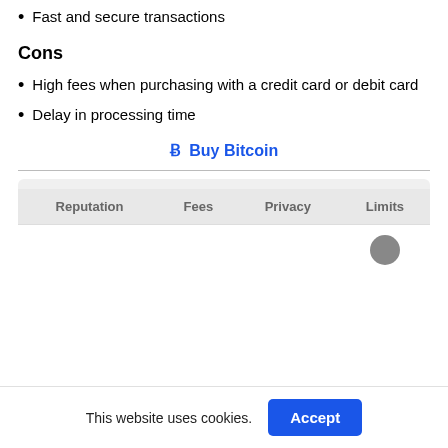Fast and secure transactions
Cons
High fees when purchasing with a credit card or debit card
Delay in processing time
Ƀ Buy Bitcoin
| Reputation | Fees | Privacy | Limits |
| --- | --- | --- | --- |
|  |  |  |  |
This website uses cookies.